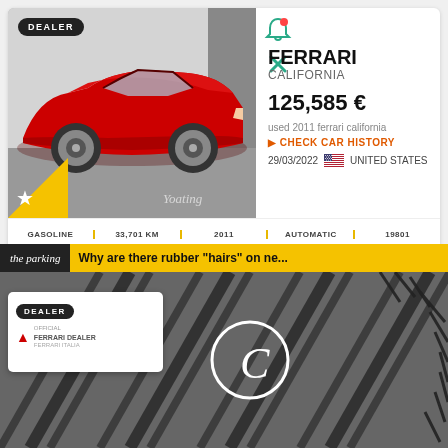[Figure (photo): Red Ferrari California convertible car photo with DEALER badge and star badge]
FERRARI CALIFORNIA
125,585 €
used 2011 ferrari california
CHECK CAR HISTORY
29/03/2022  UNITED STATES
GASOLINE | 33,701 KM | 2011 | AUTOMATIC | 19801
[Figure (photo): The Parking logo banner with yellow background text: Why are there rubber "hairs" on ne...]
[Figure (photo): Close-up black and white photo of tire tread with white circle C logo overlay]
DEALER - Official Ferrari Dealer